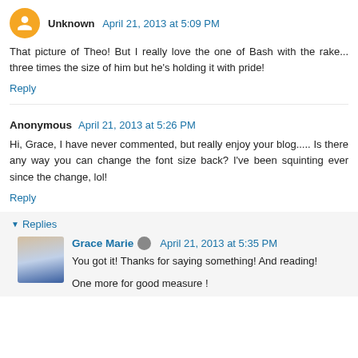Unknown  April 21, 2013 at 5:09 PM
That picture of Theo! But I really love the one of Bash with the rake... three times the size of him but he's holding it with pride!
Reply
Anonymous  April 21, 2013 at 5:26 PM
Hi, Grace, I have never commented, but really enjoy your blog..... Is there any way you can change the font size back? I've been squinting ever since the change, lol!
Reply
▼ Replies
Grace Marie  April 21, 2013 at 5:35 PM
You got it! Thanks for saying something! And reading!
One more for good measure !